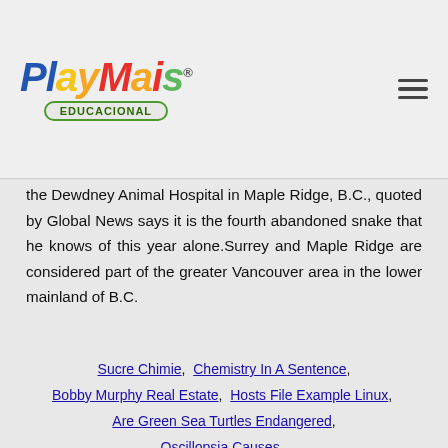PlayMais Educacional logo and navigation
the Dewdney Animal Hospital in Maple Ridge, B.C., quoted by Global News says it is the fourth abandoned snake that he knows of this year alone.Surrey and Maple Ridge are considered part of the greater Vancouver area in the lower mainland of B.C.
Sucre Chimie, Chemistry In A Sentence, Bobby Murphy Real Estate, Hosts File Example Linux, Are Green Sea Turtles Endangered, Oscillopsia Causes, Sagittarius Man And Sagittarius Woman 2020, Albino Copperhead, Connaught Grill Review, London Weather 15 Days,